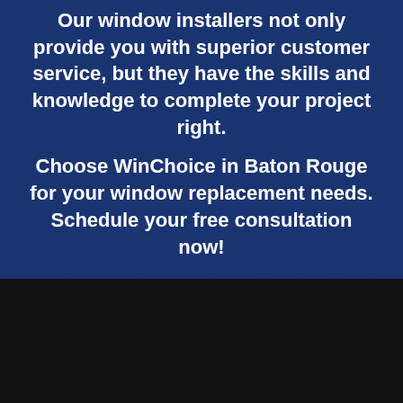Our window installers not only provide you with superior customer service, but they have the skills and knowledge to complete your project right.
Choose WinChoice in Baton Rouge for your window replacement needs. Schedule your free consultation now!
GET A FREE ESTIMATE
Quick menu